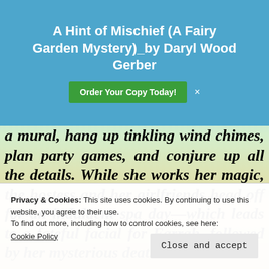A Hint of Mischief (A Fairy Garden Mystery)_by Daryl Wood Gerber
[Figure (other): Green 'Order Your Copy Today!' button with close X beside it]
a mural, hang up tinkling wind chimes, plan party games, and conjure up all the details. While she works her magic, the hostess and her girlfriends head off for an indulgent spa day—which leads to a fateful facial for Farrah, followed by her mysterious death. Could the b... i... s... t... t...
Privacy & Cookies: This site uses cookies. By continuing to use this website, you agree to their use.
To find out more, including how to control cookies, see here:
Cookie Policy
Close and accept